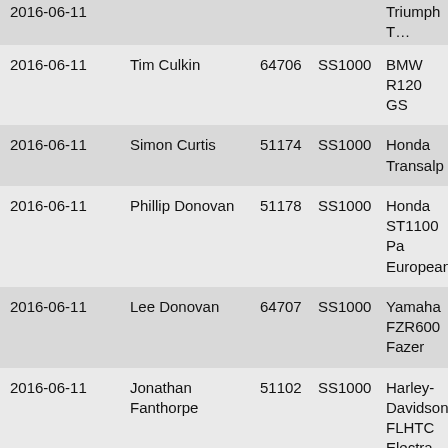| Date | Name | ID | Category | Motorcycle |
| --- | --- | --- | --- | --- |
| 2016-06-11 | Tim Culkin | 64706 | SS1000 | BMW R120 GS |
| 2016-06-11 | Simon Curtis | 51174 | SS1000 | Honda Transalp |
| 2016-06-11 | Phillip Donovan | 51178 | SS1000 | Honda ST1100 Pan European |
| 2016-06-11 | Lee Donovan | 64707 | SS1000 | Yamaha FZR600 Fazer |
| 2016-06-11 | Jonathan Fanthorpe | 51102 | SS1000 | Harley-Davidson FLHTC Electra Glide Classic |
| 2016-06-11 | Patricia Fanthorpe | 59950 | SS1000 | Harley-Davidson FLHTC Electra Glide Classic |
| 2016-06-11 | Ian Francis | 64708 | SS1000 | Triumph Trophy |
| 2016-06-11 |  |  |  | Honda |